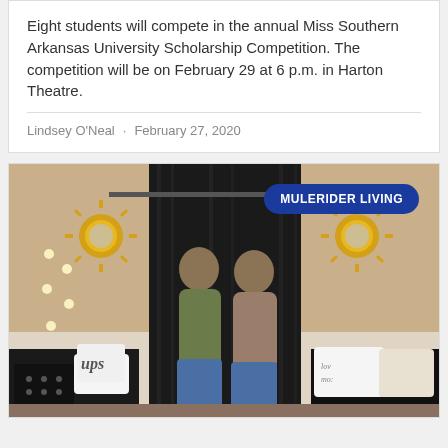Eight students will compete in the annual Miss Southern Arkansas University Scholarship Competition. The competition will be on February 29 at 6 p.m. in Harton Theatre.
Lindsey O'Neal · February 27, 2020
[Figure (photo): Two young women standing back-to-back in a decorated dorm room with black curtain backdrop, gold sunburst mirrors, string lights, and decorative pillows. A blue badge reading 'MULERIDER LIVING' appears in the upper right corner.]